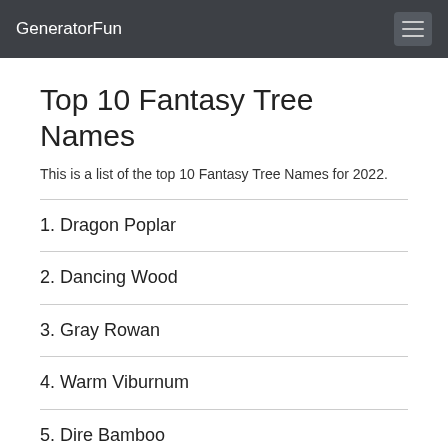GeneratorFun
Top 10 Fantasy Tree Names
This is a list of the top 10 Fantasy Tree Names for 2022.
1. Dragon Poplar
2. Dancing Wood
3. Gray Rowan
4. Warm Viburnum
5. Dire Bamboo